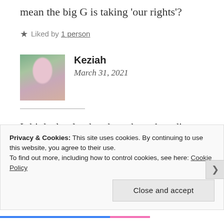mean the big G is taking 'our rights'?
★ Liked by 1 person
Keziah
March 31, 2021
[Figure (photo): Profile photo of Keziah, a woman in a pink/purple dress outdoors with green background]
I think slowly, they have been invading people's minds to the point that most of us don't think for ourselves. We let the
Privacy & Cookies: This site uses cookies. By continuing to use this website, you agree to their use.
To find out more, including how to control cookies, see here: Cookie Policy
Close and accept